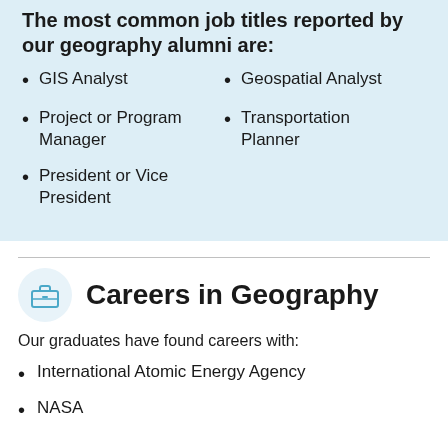The most common job titles reported by our geography alumni are:
GIS Analyst
Geospatial Analyst
Project or Program Manager
Transportation Planner
President or Vice President
Careers in Geography
Our graduates have found careers with:
International Atomic Energy Agency
NASA